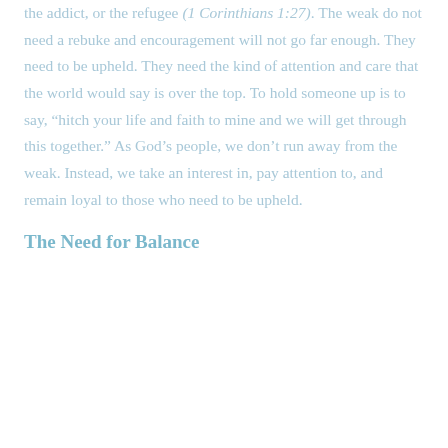the addict, or the refugee (1 Corinthians 1:27). The weak do not need a rebuke and encouragement will not go far enough. They need to be upheld. They need the kind of attention and care that the world would say is over the top. To hold someone up is to say, “hitch your life and faith to mine and we will get through this together.” As God’s people, we don’t run away from the weak. Instead, we take an interest in, pay attention to, and remain loyal to those who need to be upheld.
The Need for Balance